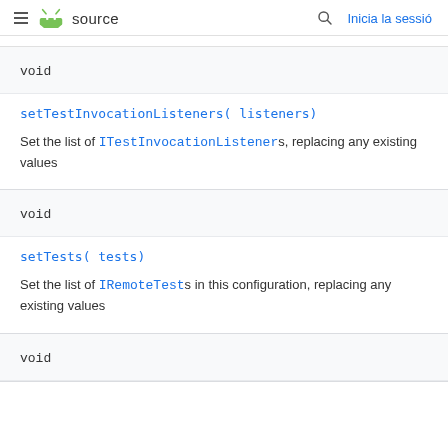≡  source    🔍  Inicia la sessió
void
setTestInvocationListeners( listeners)
Set the list of ITestInvocationListeners, replacing any existing values
void
setTests( tests)
Set the list of IRemoteTests in this configuration, replacing any existing values
void